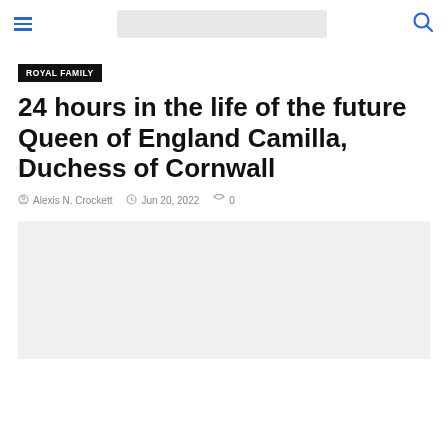ROYAL FAMILY | Navigation header with hamburger menu, search bar placeholder, and search icon
ROYAL FAMILY
24 hours in the life of the future Queen of England Camilla, Duchess of Cornwall
Alexis N. Crockett   Jun 20, 2022   0
[Figure (photo): Large image placeholder area below the article metadata, light gray background]